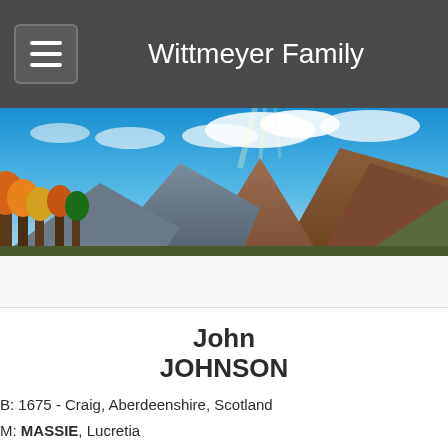Wittmeyer Family
[Figure (photo): Panoramic mountain landscape with autumn trees, blue sky and clouds]
John JOHNSON
B: 1675 - Craig, Aberdeenshire, Scotland
M: MASSIE, Lucretia
D: 06 Nov 1714 - New Kent, Virginia
See My Parents
Lucretia MASSIE